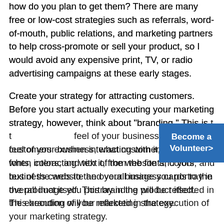how do you plan to get them? There are many free or low-cost strategies such as referrals, word-of-mouth, public relations, and marketing partners to help cross-promote or sell your product, so I would avoid any expensive print, TV, or radio advertising campaigns at these early stages.
Create your strategy for attracting customers. Before you start actually executing your marketing strategy, however, think about "branding." This is the look and feel of your business, what customers experience when interacting with it, from the fonts, colors, and text of the website and your business cards to the overall image you portray in the product itself. This branding will be reflected in the execution of your marketing strategy.
[Figure (other): Blue button/banner overlay reading 'Become a Volunteer>']